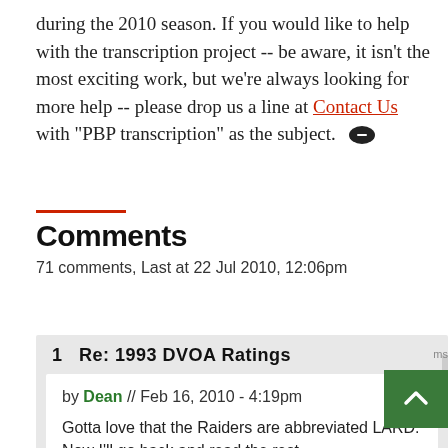during the 2010 season. If you would like to help with the transcription project -- be aware, it isn't the most exciting work, but we're always looking for more help -- please drop us a line at Contact Us with "PBP transcription" as the subject.
Comments
71 comments, Last at 22 Jul 2010, 12:06pm
1  Re: 1993 DVOA Ratings
by Dean // Feb 16, 2010 - 4:19pm
Gotta love that the Raiders are abbreviated LARD. Now I'll go back and read the rest.